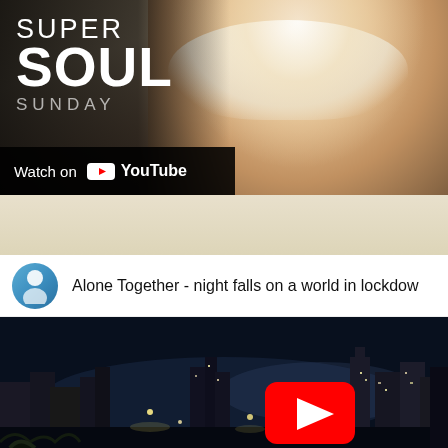[Figure (screenshot): Super Soul Sunday promotional image with person laughing, showing teeth, with YouTube watch button overlay. Text reads SUPER SOUL SUNDAY Watch on YouTube.]
[Figure (screenshot): YouTube video thumbnail for 'Alone Together - night falls on a world in lockdown' showing a dark nighttime cityscape with city lights visible and a red YouTube play button in the center.]